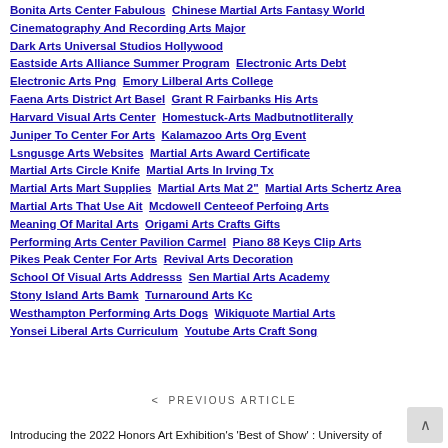Bonita Arts Center Fabulous  Chinese Martial Arts Fantasy World  Cinematography And Recording Arts Major  Dark Arts Universal Studios Hollywood  Eastside Arts Alliance Summer Program  Electronic Arts Debt  Electronic Arts Png  Emory Lilberal Arts College  Faena Arts District Art Basel  Grant R Fairbanks His Arts  Harvard Visual Arts Center  Homestuck-Arts Madbutnotliterally  Juniper To Center For Arts  Kalamazoo Arts Org Event  Lsngusge Arts Websites  Martial Arts Award Certificate  Martial Arts Circle Knife  Martial Arts In Irving Tx  Martial Arts Mart Supplies  Martial Arts Mat 2"  Martial Arts Schertz Area  Martial Arts That Use Ait  Mcdowell Centeeof Perfoing Arts  Meaning Of Marital Arts  Origami Arts Crafts Gifts  Performing Arts Center Pavilion Carmel  Piano 88 Keys Clip Arts  Pikes Peak Center For Arts  Revival Arts Decoration  School Of Visual Arts Addresss  Sen Martial Arts Academy  Stony Island Arts Bamk  Turnaround Arts Kc  Westhampton Performing Arts Dogs  Wikiquote Martial Arts  Yonsei Liberal Arts Curriculum  Youtube Arts Craft Song
< PREVIOUS ARTICLE
Introducing the 2022 Honors Art Exhibition's 'Best of Show' : University of